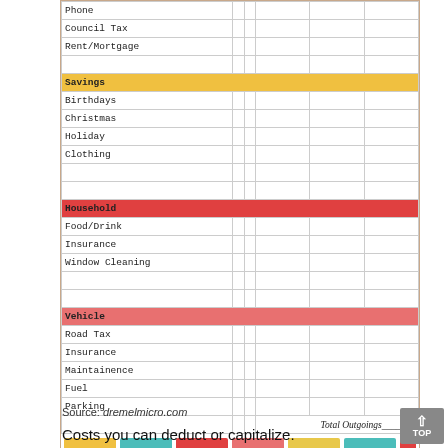| Category |  |  |  |  |  |
| --- | --- | --- | --- | --- | --- |
| Phone |  |  |  |  |  |
| Council Tax |  |  |  |  |  |
| Rent/Mortgage |  |  |  |  |  |
|  |  |  |  |  |  |
| Savings |  |  |  |  |  |
| Birthdays |  |  |  |  |  |
| Christmas |  |  |  |  |  |
| Holiday |  |  |  |  |  |
| Clothing |  |  |  |  |  |
|  |  |  |  |  |  |
|  |  |  |  |  |  |
| Household |  |  |  |  |  |
| Food/Drink |  |  |  |  |  |
| Insurance |  |  |  |  |  |
| Window Cleaning |  |  |  |  |  |
|  |  |  |  |  |  |
|  |  |  |  |  |  |
| Vehicle |  |  |  |  |  |
| Road Tax |  |  |  |  |  |
| Insurance |  |  |  |  |  |
| Maintainence |  |  |  |  |  |
| Fuel |  |  |  |  |  |
| Parking |  |  |  |  |  |
|  | Total Outgoings_______ |  |  |  |  |
Source: dremelmicro.com
Costs you can deduct or capitalize. Transportation, meals and lodging expenses incurred by employees on behalf of a business are deductible.